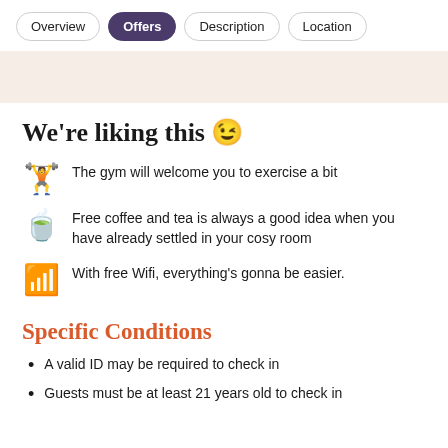Overview | Offers | Description | Location
We're liking this 😊
The gym will welcome you to exercise a bit
Free coffee and tea is always a good idea when you have already settled in your cosy room
With free Wifi, everything's gonna be easier.
Specific Conditions
A valid ID may be required to check in
Guests must be at least 21 years old to check in